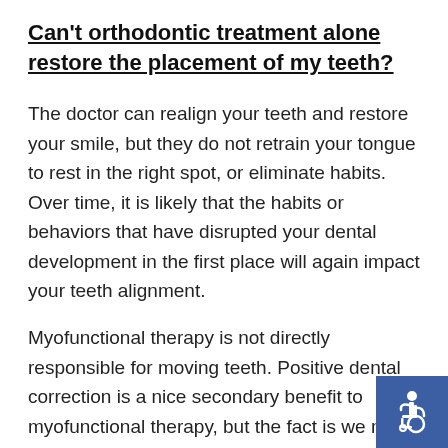Can't orthodontic treatment alone restore the placement of my teeth?
The doctor can realign your teeth and restore your smile, but they do not retrain your tongue to rest in the right spot, or eliminate habits. Over time, it is likely that the habits or behaviors that have disrupted your dental development in the first place will again impact your teeth alignment.
Myofunctional therapy is not directly responsible for moving teeth. Positive dental correction is a nice secondary benefit to myofunctional therapy, but the fact is we move
[Figure (illustration): Accessibility icon — white International Symbol of Access (wheelchair symbol) on a blue square background, positioned in the lower right corner of the page.]